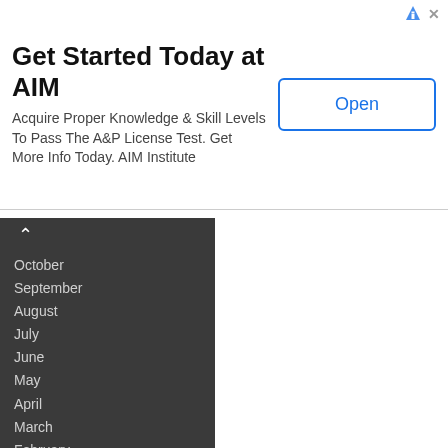[Figure (screenshot): Advertisement banner for AIM Institute with title 'Get Started Today at AIM', body text 'Acquire Proper Knowledge & Skill Levels To Pass The A&P License Test. Get More Info Today. AIM Institute', and an 'Open' button on the right.]
October
September
August
July
June
May
April
March
February
January
2010
December
November
October
September
August
July
June
May
April
March
February
January
2009